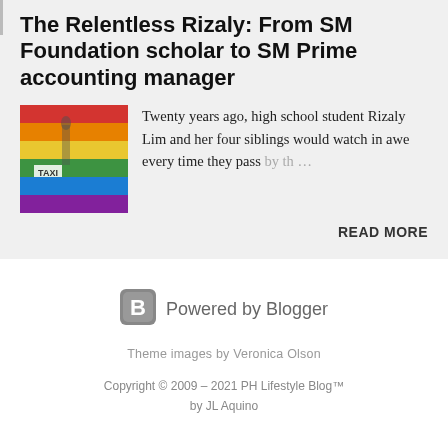The Relentless Rizaly: From SM Foundation scholar to SM Prime accounting manager
[Figure (photo): Photo of a colorful rainbow-painted pedestrian crossing street with a person walking and a taxi sign visible]
Twenty years ago, high school student Rizaly Lim and her four siblings would watch in awe every time they pass by th…
READ MORE
[Figure (logo): Blogger B logo icon in a rounded square]
Powered by Blogger
Theme images by Veronica Olson
Copyright © 2009 – 2021 PH Lifestyle Blog™
by JL Aquino